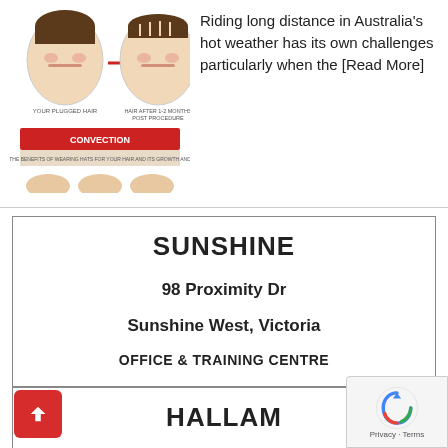[Figure (infographic): Infographic showing two head diagrams with a red arrow between them, illustrating convection heat transfer concept, with labels and a red 'CONVECTION' banner below.]
Riding long distance in Australia's hot weather has its own challenges particularly when the [Read More]
SUNSHINE
98 Proximity Dr
Sunshine West, Victoria
OFFICE & TRAINING CENTRE
HALLAM
HEAD OFFICE